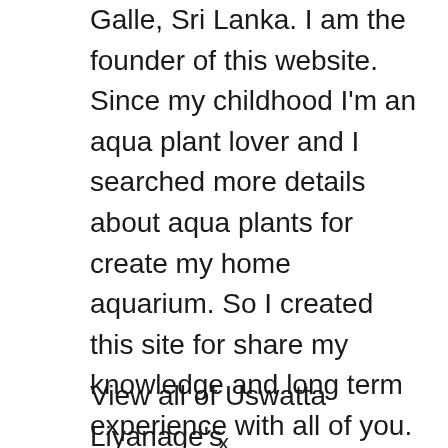Galle, Sri Lanka. I am the founder of this website. Since my childhood I'm an aqua plant lover and I searched more details about aqua plants for create my home aquarium. So I created this site for share my knowledge and long term experience with all of you. If you an aqua plant lover or hope to start an aquarium definitely my site will give a better guidance to you. I would like to invite you to refer my site and feel free to contact me if any inquiry.
View all of Uswatta Liyanage's